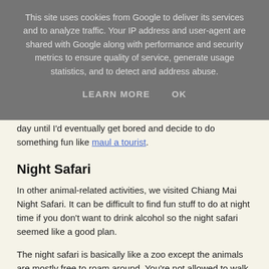This site uses cookies from Google to deliver its services and to analyze traffic. Your IP address and user-agent are shared with Google along with performance and security metrics to ensure quality of service, generate usage statistics, and to detect and address abuse.
LEARN MORE   OK
day until I'd eventually get bored and decide to do something fun like maul a tourist.
Night Safari
In other animal-related activities, we visited Chiang Mai Night Safari. It can be difficult to find fun stuff to do at night time if you don't want to drink alcohol so the night safari seemed like a good plan.
The night safari is basically like a zoo except the animals are mostly free to roam around. You're not allowed to walk anywhere but you get driven though the massive park on a